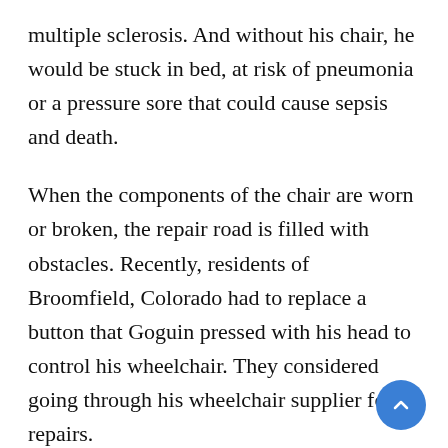multiple sclerosis. And without his chair, he would be stuck in bed, at risk of pneumonia or a pressure sore that could cause sepsis and death.
When the components of the chair are worn or broken, the repair road is filled with obstacles. Recently, residents of Broomfield, Colorado had to replace a button that Goguin pressed with his head to control his wheelchair. They considered going through his wheelchair supplier for repairs.
“If we do, she’ll literally be in bed for months,” said Balduk, who is a member of the Colorado Cross-Disability Alliance with her husband, an advoc… group. “There is a problem with the quality of life –